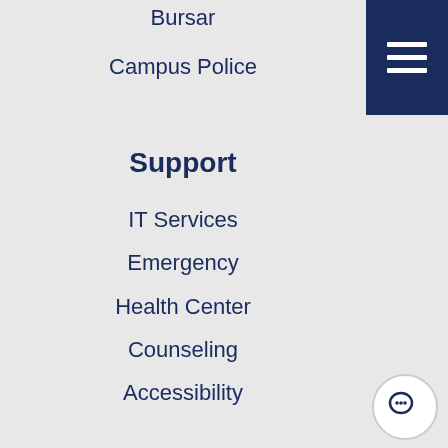Bursar
Campus Police
Support
IT Services
Emergency
Health Center
Counseling
Accessibility
Join Us
Careers